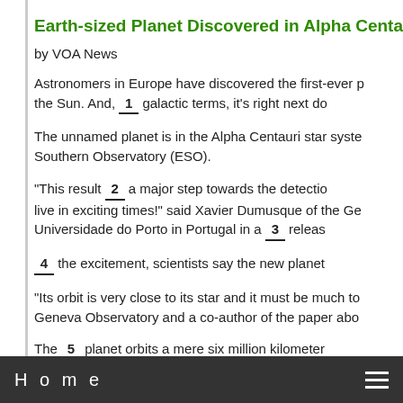Earth-sized Planet Discovered in Alpha Centaur
by VOA News
Astronomers in Europe have discovered the first-ever planet orbiting a star like the Sun. And, ___1___ galactic terms, it's right next door.
The unnamed planet is in the Alpha Centauri star system, according to the European Southern Observatory (ESO).
"This result ___2___ a major step towards the detection of Earth. We live in exciting times!" said Xavier Dumusque of the Geneva Observatory and the Universidade do Porto in Portugal in a ___3___ release.
___4___ the excitement, scientists say the new planet is not habitable.
"Its orbit is very close to its star and it must be much too hot for life," said the Geneva Observatory and a co-author of the paper about the discovery.
The ___5___ planet orbits a mere six million kilometers from its star.
Alpha Centauri is the nearest stellar system to the earth and one of the brightest objects in the southern skies. It is actually a triple system with two stars orbiting close to each other, Alpha Centauri A and B, and a more distant third
Home